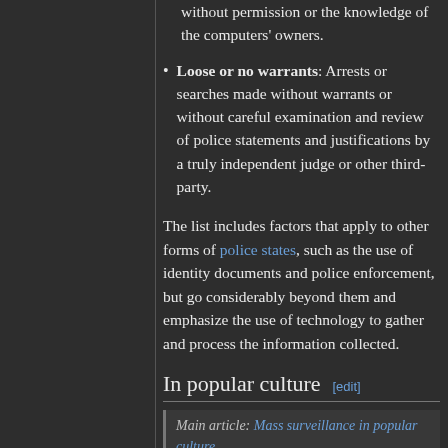without permission or the knowledge of the computers' owners.
Loose or no warrants: Arrests or searches made without warrants or without careful examination and review of police statements and justifications by a truly independent judge or other third-party.
The list includes factors that apply to other forms of police states, such as the use of identity documents and police enforcement, but go considerably beyond them and emphasize the use of technology to gather and process the information collected.
In popular culture [edit]
Main article: Mass surveillance in popular culture